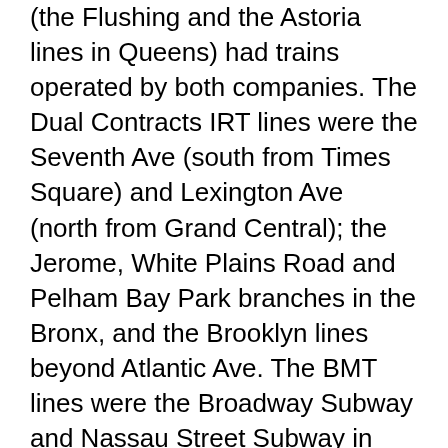(the Flushing and the Astoria lines in Queens) had trains operated by both companies. The Dual Contracts IRT lines were the Seventh Ave (south from Times Square) and Lexington Ave (north from Grand Central); the Jerome, White Plains Road and Pelham Bay Park branches in the Bronx, and the Brooklyn lines beyond Atlantic Ave. The BMT lines were the Broadway Subway and Nassau Street Subway in Manhattan, the 14th St.-Eastern District line from Manhattan to Brooklyn, and Fourth Ave., West End, and Culver lines in Brooklyn. Connections were also made to the company's Sea Beach and Brighton Beach lines.
The Independent Subway (IND) was formed by the City in the 1920s as a subway that would